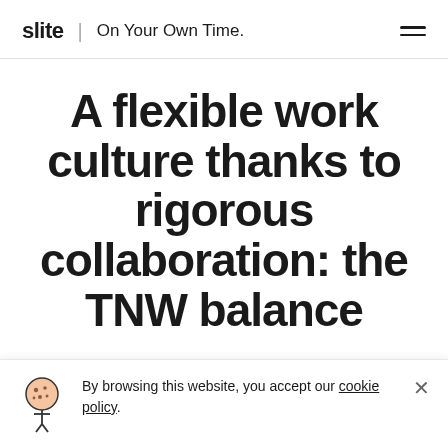slite | On Your Own Time.
A flexible work culture thanks to rigorous collaboration: the TNW balance
[Figure (illustration): Partial illustration with pink background strip and orange semicircle, part of an infographic about collaboration]
By browsing this website, you accept our cookie policy.